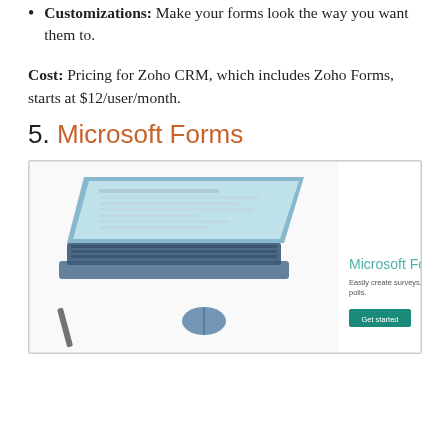Customizations: Make your forms look the way you want them to.
Cost: Pricing for Zoho CRM, which includes Zoho Forms, starts at $12/user/month.
5. Microsoft Forms
[Figure (screenshot): Microsoft Forms product screenshot showing a Surface laptop with keyboard and mouse, with Microsoft Forms logo and tagline 'Easily create surveys, quizzes, and polls.' and a 'Get started' button.]